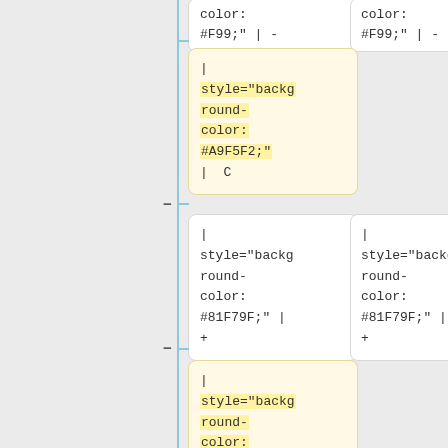[Figure (flowchart): A tree/diff diagram showing code nodes with CSS style attributes. Top row: two white cards containing 'color: #F99;" | -'. Middle highlighted card (yellow) showing '| style="background-round-color: #A9F5F2;" | C'. Below that two white cards with '| style="background-round-color: #81F79F;" | +'. Bottom highlighted card (yellow) with '| style="background-round-color: #A9F5F2;" | C'. Connected by a vertical blue line and horizontal connectors with minus/plus symbols.]